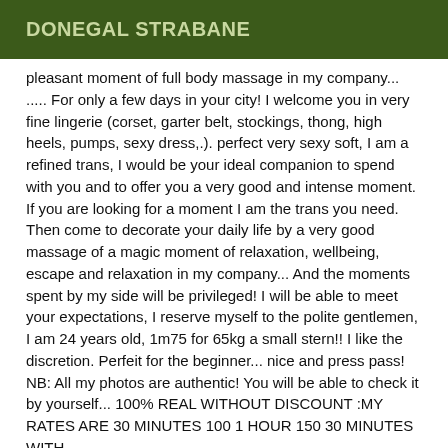DONEGAL STRABANE
pleasant moment of full body massage in my company...... For only a few days in your city! I welcome you in very fine lingerie (corset, garter belt, stockings, thong, high heels, pumps, sexy dress,.). perfect very sexy soft, I am a refined trans, I would be your ideal companion to spend with you and to offer you a very good and intense moment. If you are looking for a moment I am the trans you need. Then come to decorate your daily life by a very good massage of a magic moment of relaxation, wellbeing, escape and relaxation in my company... And the moments spent by my side will be privileged! I will be able to meet your expectations, I reserve myself to the polite gentlemen, I am 24 years old, 1m75 for 65kg a small stern!! I like the discretion. Perfeit for the beginner... nice and press pass! NB: All my photos are authentic! You will be able to check it by yourself... 100% REAL WITHOUT DISCOUNT :MY RATES ARE 30 MINUTES 100 1 HOUR 150 30 MINUTES WITH